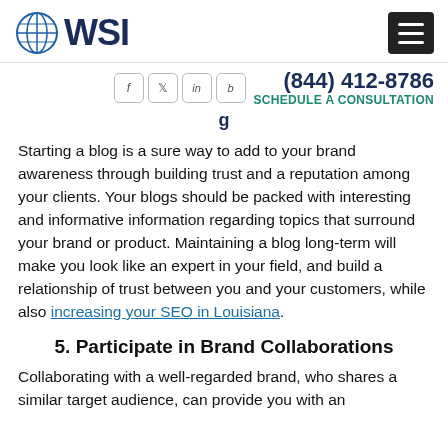WSI logo and navigation header with phone (844) 412-8786 and Schedule A CONSULTATION
g…
Starting a blog is a sure way to add to your brand awareness through building trust and a reputation among your clients. Your blogs should be packed with interesting and informative information regarding topics that surround your brand or product. Maintaining a blog long-term will make you look like an expert in your field, and build a relationship of trust between you and your customers, while also increasing your SEO in Louisiana.
5. Participate in Brand Collaborations
Collaborating with a well-regarded brand, who shares a similar target audience, can provide you with an